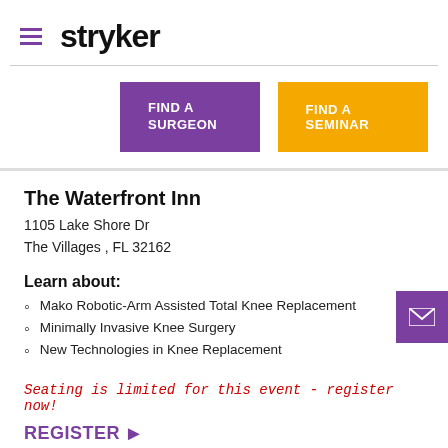[Figure (logo): Stryker logo with hamburger menu icon and bold 'stryker' text]
[Figure (infographic): Two navigation buttons: purple 'FIND A SURGEON' and orange 'FIND A SEMINAR']
The Waterfront Inn
1105 Lake Shore Dr
The Villages , FL 32162
Learn about:
Mako Robotic-Arm Assisted Total Knee Replacement
Minimally Invasive Knee Surgery
New Technologies in Knee Replacement
Seating is limited for this event - register now!
REGISTER ▶